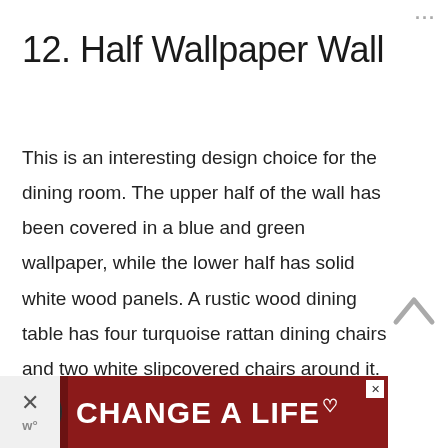...
12. Half Wallpaper Wall
This is an interesting design choice for the dining room. The upper half of the wall has been covered in a blue and green wallpaper, while the lower half has solid white wood panels. A rustic wood dining table has four turquoise rattan dining chairs and two white slipcovered chairs around it.
[Figure (other): Advertisement banner at bottom of page: dark red/maroon background with a black dog photo on the left, bold white text reading 'CHANGE A LIFE' with a heart icon. Close buttons visible on upper right of ad and to the right side.]